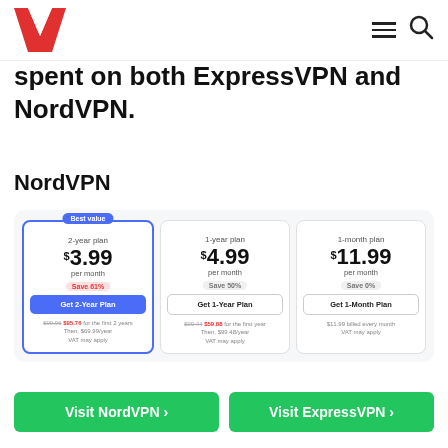W logo and navigation icons
spent on both ExpressVPN and NordVPN.
NordVPN
[Figure (screenshot): NordVPN pricing table screenshot showing three plans: 2-year plan at $3.99/month (Best value, Save 61%), 1-year plan at $4.99/month (Save 50%), and 1-month plan at $11.99/month (Save 0%). Each card has a CTA button and billing details.]
Visit NordVPN >   Visit ExpressVPN >